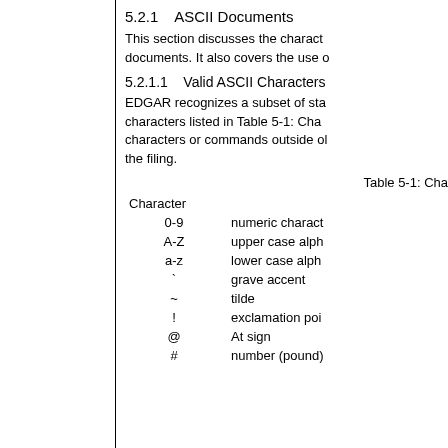5.2.1    ASCII Documents
This section discusses the characters that are valid for use in EDGAR documents. It also covers the use of
5.2.1.1    Valid ASCII Characters
EDGAR recognizes a subset of standard ASCII characters. The characters listed in Table 5-1: Cha... You may not use characters or commands outside of the standard ASCII set within the filing.
Table 5-1: Cha
| Character |  |
| --- | --- |
| 0-9 | numeric charact |
| A-Z | upper case alph |
| a-z | lower case alph |
| ` | grave accent |
| ~ | tilde |
| ! | exclamation poi |
| @ | At sign |
| # | number (pound) |